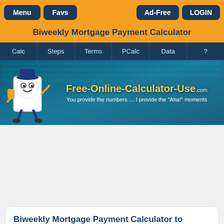Menu | Favs | Ad-Free | LOGIN
Biweekly Mortgage Payment Calculator
Calc | Steps | Terms | PCalc | Data | ?
[Figure (screenshot): Free-Online-Calculator-Use.com banner with mascot character and tagline: You provide the numbers ... I provide the "Aha!" moments]
Biweekly Mortgage Payment Calculator to Calculate Early Payoff Savings
Read more ...
About this ...